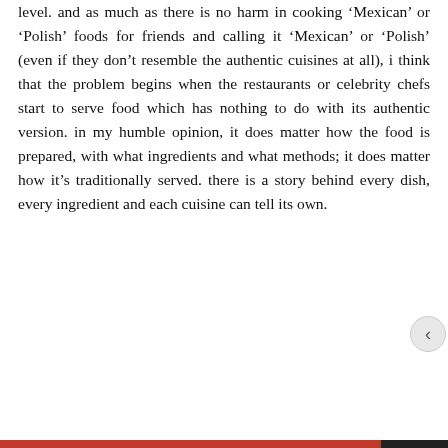level. and as much as there is no harm in cooking 'Mexican' or 'Polish' foods for friends and calling it 'Mexican' or 'Polish' (even if they don't resemble the authentic cuisines at all), i think that the problem begins when the restaurants or celebrity chefs start to serve food which has nothing to do with its authentic version. in my humble opinion, it does matter how the food is prepared, with what ingredients and what methods; it does matter how it's traditionally served. there is a story behind every dish, every ingredient and each cuisine can tell its own.
Privacy & Cookies: This site uses cookies. By continuing to use this website, you agree to their use.
To find out more, including how to control cookies, see here: Cookie Policy